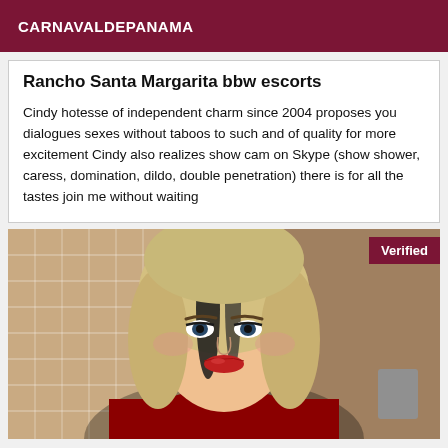CARNAVALDEPANAMA
Rancho Santa Margarita bbw escorts
Cindy hotesse of independent charm since 2004 proposes you dialogues sexes without taboos to such and of quality for more excitement Cindy also realizes show cam on Skype (show shower, caress, domination, dildo, double penetration) there is for all the tastes join me without waiting
[Figure (photo): Portrait photo of a blonde woman with dark streaks in hair, wearing red jacket, with a 'Verified' badge in top right corner. Background shows tiled wall.]